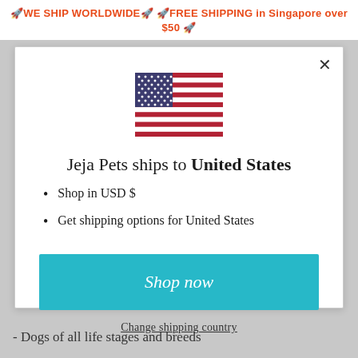🚀WE SHIP WORLDWIDE🚀 🚀FREE SHIPPING in Singapore over $50 🚀
[Figure (illustration): US flag emoji / illustration centered in modal dialog]
Jeja Pets ships to United States
Shop in USD $
Get shipping options for United States
Shop now
Change shipping country
- Dogs of all life stages and breeds